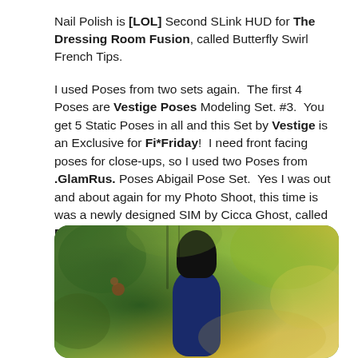Nail Polish is [LOL] Second SLink HUD for The Dressing Room Fusion, called Butterfly Swirl French Tips.

I used Poses from two sets again.  The first 4 Poses are Vestige Poses Modeling Set. #3.  You get 5 Static Poses in all and this Set by Vestige is an Exclusive for Fi*Friday!  I need front facing poses for close-ups, so I used two Poses from .GlamRus. Poses Abigail Pose Set.  Yes I was out and about again for my Photo Shoot, this time is was a newly designed SIM by Cicca Ghost, called Dreamers .:HERE:.
[Figure (photo): A virtual avatar with dark hair and blue outfit posed in a fantasy outdoor environment with lush green and golden foliage in Second Life.]